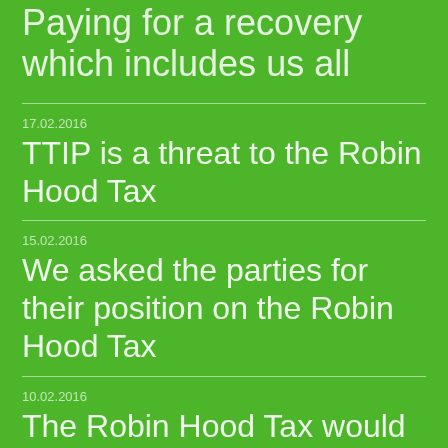Paying for a recovery which includes us all
17.02.2016
TTIP is a threat to the Robin Hood Tax
15.02.2016
We asked the parties for their position on the Robin Hood Tax
10.02.2016
The Robin Hood Tax would bring 320-350 Million Euro per year to Ireland.